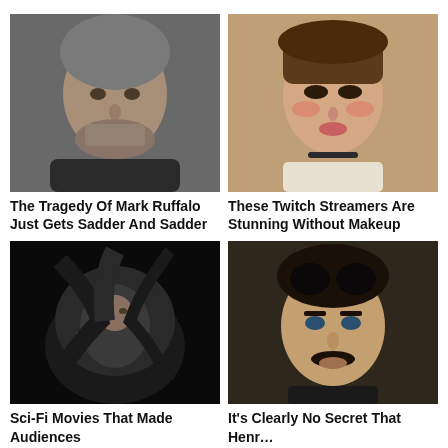[Figure (photo): Portrait photo of Mark Ruffalo, middle-aged man with grey hair]
The Tragedy Of Mark Ruffalo Just Gets Sadder And Sadder
[Figure (photo): Portrait photo of a young woman Twitch streamer with brown hair and heavy makeup]
These Twitch Streamers Are Stunning Without Makeup
[Figure (photo): Sci-Fi movie still showing a person covered in dark alien material]
Sci-Fi Movies That Made Audiences
[Figure (photo): Portrait photo of Henry Cavill with dark curly hair and mustache]
It's Clearly No Secret That Henr